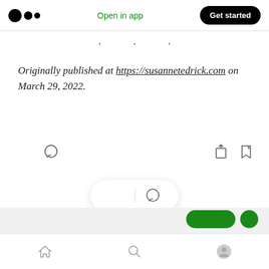Medium logo | Open in app | Get started
· · ·
Originally published at https://susannetedrick.com on March 29, 2022.
[Figure (screenshot): Action icons: clap, comment, share, bookmark]
[Figure (screenshot): Floating pill with clap and comment icons]
Bottom navigation bar with home, search, and profile icons